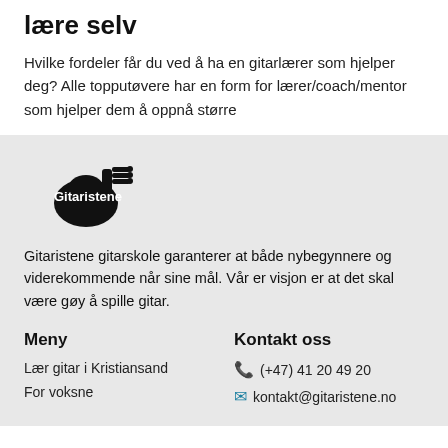lære selv
Hvilke fordeler får du ved å ha en gitarlærer som hjelper deg? Alle topputøvere har en form for lærer/coach/mentor som hjelper dem å oppnå større
[Figure (logo): Gitaristene logo — black guitar silhouette with 'Gitaristene' text in white]
Gitaristene gitarskole garanterer at både nybegynnere og viderekommende når sine mål. Vår er visjon er at det skal være gøy å spille gitar.
Meny
Kontakt oss
Lær gitar i Kristiansand
For voksne
(+47) 41 20 49 20
kontakt@gitaristene.no